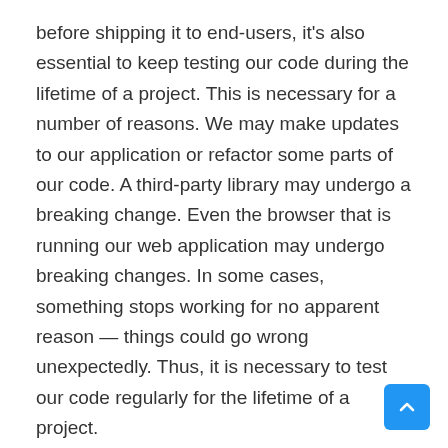before shipping it to end-users, it's also essential to keep testing our code during the lifetime of a project. This is necessary for a number of reasons. We may make updates to our application or refactor some parts of our code. A third-party library may undergo a breaking change. Even the browser that is running our web application may undergo breaking changes. In some cases, something stops working for no apparent reason — things could go wrong unexpectedly. Thus, it is necessary to test our code regularly for the lifetime of a project.
Broadly speaking, there are manual and automated software tests. In a manual test, a real user performs some action on our application to verify